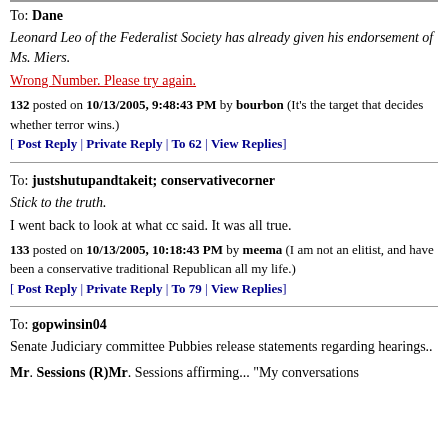To: Dane
Leonard Leo of the Federalist Society has already given his endorsement of Ms. Miers.
Wrong Number. Please try again.
132 posted on 10/13/2005, 9:48:43 PM by bourbon (It's the target that decides whether terror wins.)
[ Post Reply | Private Reply | To 62 | View Replies]
To: justshutupandtakeit; conservativecorner
Stick to the truth.
I went back to look at what cc said. It was all true.
133 posted on 10/13/2005, 10:18:43 PM by meema (I am not an elitist, and have been a conservative traditional Republican all my life.)
[ Post Reply | Private Reply | To 79 | View Replies]
To: gopwinsin04
Senate Judiciary committee Pubbies release statements regarding hearings..
Mr. Sessions (R)Mr. Sessions affirming... "My conversations